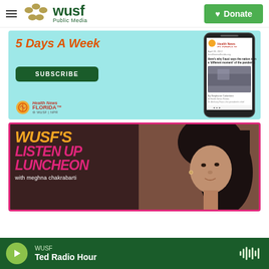WUSF Public Media — Donate
[Figure (screenshot): Health News Florida newsletter advertisement: '5 Days A Week' in orange text on light blue background with SUBSCRIBE button, Health News Florida logo, and a phone mockup showing a newsletter article about Fauci and the pandemic.]
[Figure (screenshot): WUSF's Listen Up Luncheon with meghna chakrabarti promotional image: orange and pink stylized text on dark background with a photo of a woman with dark hair.]
WUSF · Ted Radio Hour